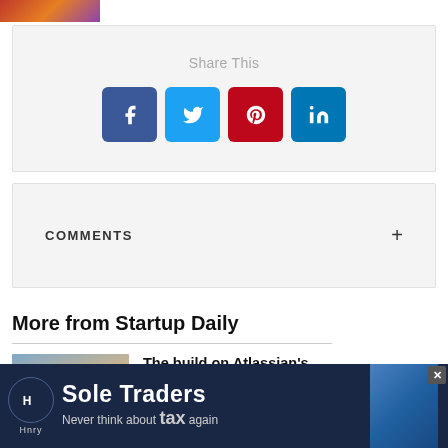[Figure (photo): Small cropped photo thumbnail at top left]
Share This
[Figure (infographic): Social share buttons: Facebook (blue), Twitter (light blue), Pinterest (red), LinkedIn (blue)]
COMMENTS +
More from Startup Daily
[Figure (photo): Article thumbnail showing construction worker]
The build on Atlassian's new Sydney HQ gets
[Figure (infographic): Hnry Sole Traders advertisement banner: Never think about tax again]